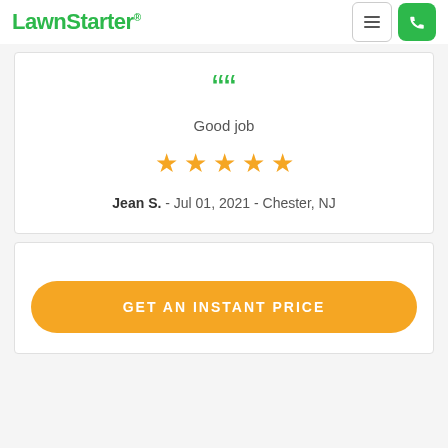LawnStarter
Good job
★★★★★
Jean S. - Jul 01, 2021 - Chester, NJ
GET AN INSTANT PRICE